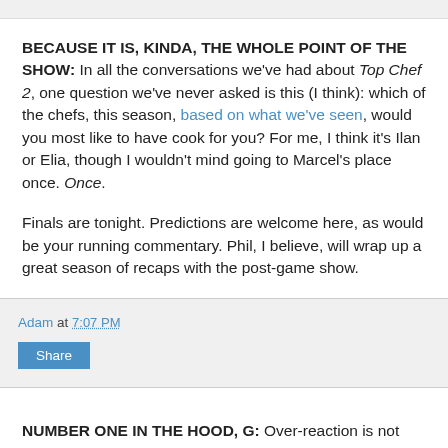BECAUSE IT IS, KINDA, THE WHOLE POINT OF THE SHOW: In all the conversations we've had about Top Chef 2, one question we've never asked is this (I think): which of the chefs, this season, based on what we've seen, would you most like to have cook for you? For me, I think it's Ilan or Elia, though I wouldn't mind going to Marcel's place once. Once.
Finals are tonight. Predictions are welcome here, as would be your running commentary. Phil, I believe, will wrap up a great season of recaps with the post-game show.
Adam at 7:07 PM
Share
NUMBER ONE IN THE HOOD, G: Over-reaction is not